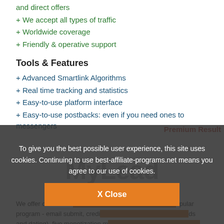+ and direct offers
+ We accept all types of traffic
+ Worldwide coverage
+ Friendly & operative support
Tools & Features
+ Advanced Smartlink Algorithms
+ Real time tracking and statistics
+ Easy-to-use platform interface
+ Easy-to-use postbacks: even if you need ones to messengers
Premium Result
To give you the best possible user experience, this site uses cookies. Continuing to use best-affiliate-programs.net means you agree to our use of cookies.
X Close
We offer over 2500 ... popular program - email submit, credi... ds and dating), five monetization m... which you will find various service... lishers with free monetization tools like Content Lockers and comparison engines. Also...